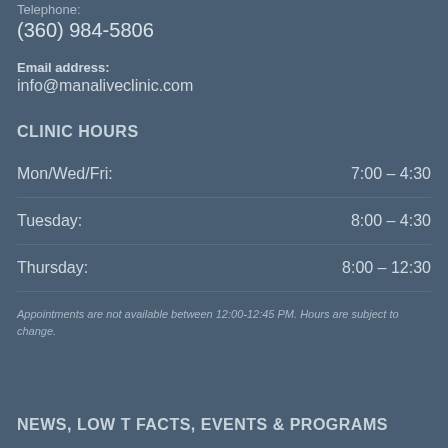Telephone:
(360) 984-5806
Email address:
info@manaliveclinic.com
CLINIC HOURS
Mon/Wed/Fri:  7:00 - 4:30
Tuesday:  8:00 - 4:30
Thursday:  8:00 - 12:30
Appointments are not available between 12:00-12:45 PM. Hours are subject to change.
NEWS, LOW T FACTS, EVENTS & PROGRAMS